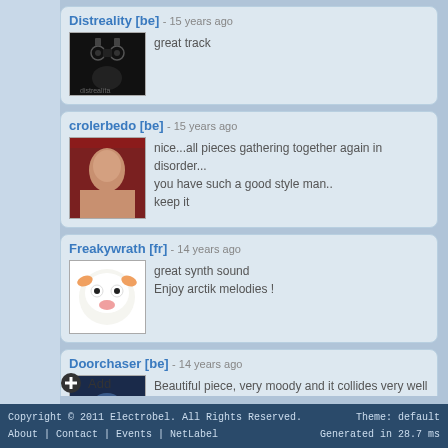Distreality [be] - 15 years ago
great track
crolerbedo [be] - 15 years ago
nice...all pieces gathering together again in disorder...
you have such a good style man..
keep it
Freakywrath [fr] - 14 years ago
great synth sound
Enjoy arctik melodies !
Doorchaser [be] - 14 years ago
Beautiful piece, very moody and it collides very well with the beats! Congratz
Anonymous [be] - 3 years ago
Add
Copyright © 2011 Electrobel. All Rights Reserved.
About | Contact | Events | NetLabel
Theme: default
Generated in 28.7 ms